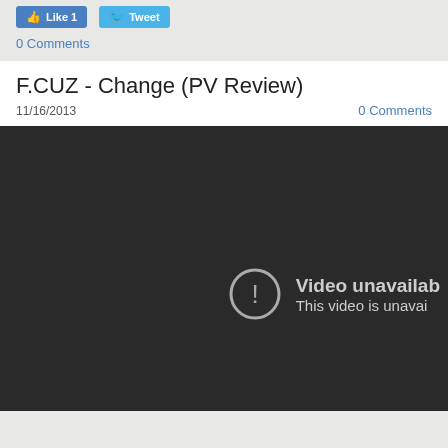[Figure (screenshot): Facebook Like button showing count of 1 and Twitter Tweet button]
0 Comments
F.CUZ - Change (PV Review)
11/16/2013
0 Comments
[Figure (screenshot): Embedded video player showing 'Video unavailable' error message with exclamation icon and text 'This video is unavai...']